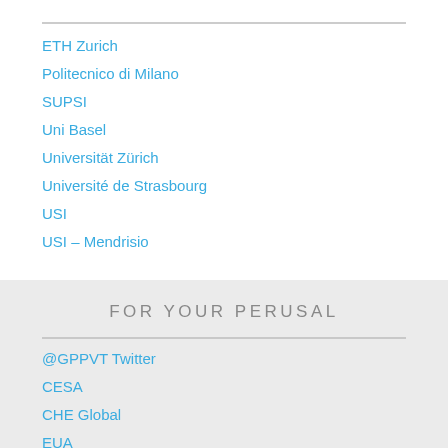ETH Zurich
Politecnico di Milano
SUPSI
Uni Basel
Universität Zürich
Université de Strasbourg
USI
USI – Mendrisio
FOR YOUR PERUSAL
@GPPVT Twitter
CESA
CHE Global
EUA
Global Perspectives Manual